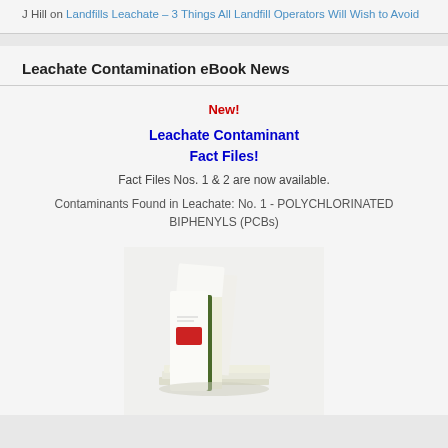J Hill on Landfills Leachate – 3 Things All Landfill Operators Will Wish to Avoid
Leachate Contamination eBook News
New!
Leachate Contaminant Fact Files!
Fact Files Nos. 1 & 2 are now available.
Contaminants Found in Leachate: No. 1 - POLYCHLORINATED BIPHENYLS (PCBs)
[Figure (photo): Stack of white booklets/fact files with green spine detail and red label, representing the Leachate Contaminant Fact Files eBook product]